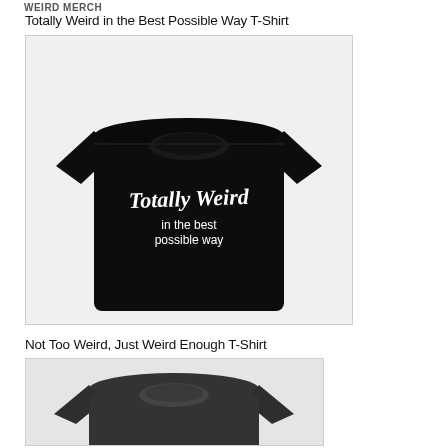WEIRD MERCH
Totally Weird in the Best Possible Way T-Shirt
[Figure (photo): Black t-shirt with white script text reading 'Totally Weird in the best possible way']
Not Too Weird, Just Weird Enough T-Shirt
[Figure (photo): Dark gray t-shirt partially visible at bottom of page]